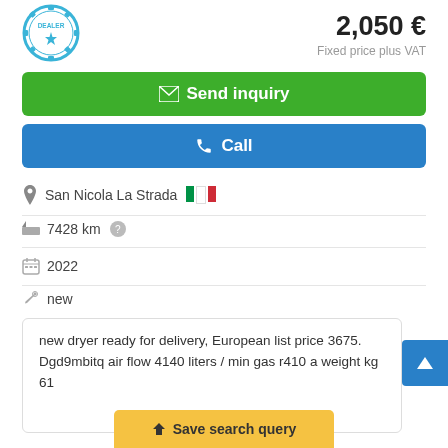[Figure (logo): Dealer badge/seal logo in blue at top left]
2,050 €
Fixed price plus VAT
Send inquiry
Call
San Nicola La Strada 🇮🇹
7428 km
2022
new
new dryer ready for delivery, European list price 3675. Dgd9mbitq air flow 4140 liters / min gas r410 a weight kg 61
Save search query